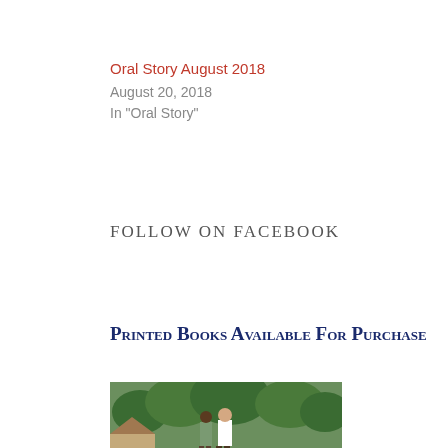Oral Story August 2018
August 20, 2018
In "Oral Story"
Follow on Facebook
Printed Books Available for Purchase
[Figure (photo): A man in a white shirt standing and speaking to a seated group of people outdoors under trees, appearing to be a community gathering or storytelling session in Africa.]